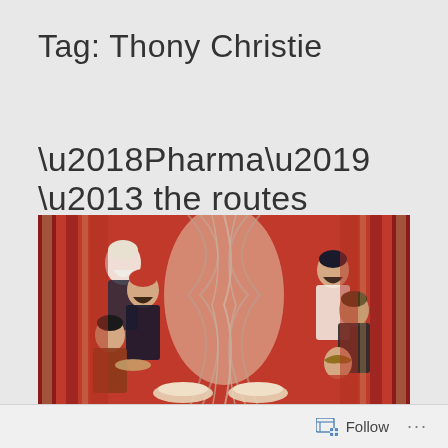Tag: Thony Christie
‘Pharma’ – the routes
[Figure (illustration): Medieval or Islamic-style manuscript illustration showing robed figures seated around a central decorative element with swirling patterns. Rich red, gold, and white colors with ornate border decoration.]
Follow ...